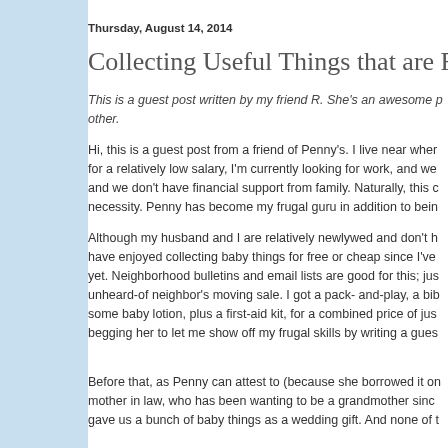Thursday, August 14, 2014
Collecting Useful Things that are Free
This is a guest post written by my friend R. She's an awesome p... other.
Hi, this is a guest post from a friend of Penny's. I live near wher... for a relatively low salary, I'm currently looking for work, and we... and we don't have financial support from family. Naturally, this c... necessity. Penny has become my frugal guru in addition to bein...
Although my husband and I are relatively newlywed and don't h... have enjoyed collecting baby things for free or cheap since I've... yet. Neighborhood bulletins and email lists are good for this; jus... unheard-of neighbor's moving sale. I got a pack- and-play, a bib... some baby lotion, plus a first-aid kit, for a combined price of jus... begging her to let me show off my frugal skills by writing a gues...
Before that, as Penny can attest to (because she borrowed it o... mother in law, who has been wanting to be a grandmother sinc... gave us a bunch of baby things as a wedding gift. And none of t...